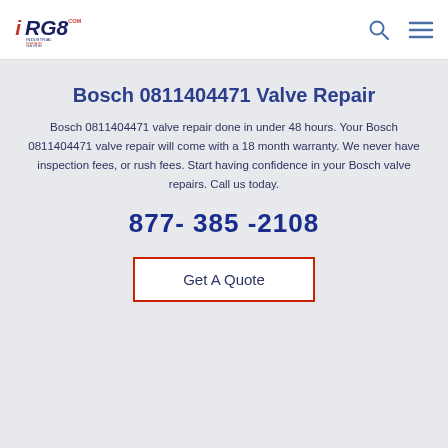[Figure (logo): iRG8 Industrial Repair Group logo with red and navy text]
Bosch 0811404471 Valve Repair
Bosch 0811404471 valve repair done in under 48 hours. Your Bosch 0811404471 valve repair will come with a 18 month warranty. We never have inspection fees, or rush fees. Start having confidence in your Bosch valve repairs. Call us today.
877- 385 -2108
Get A Quote